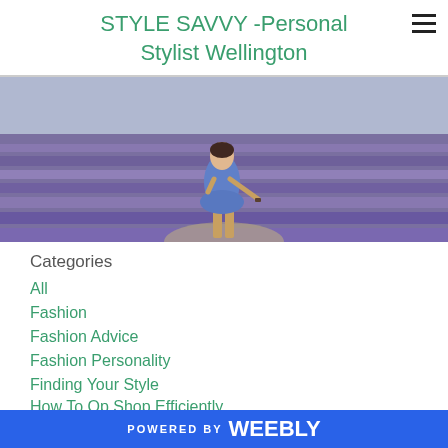STYLE SAVVY -Personal Stylist Wellington
[Figure (photo): Woman in blue dress walking through a lavender field]
Categories
All
Fashion
Fashion Advice
Fashion Personality
Finding Your Style
How To Op Shop Efficiently
How To Organise Your Wardrobe
How To Wear All Of Your Wardrobe
POWERED BY weebly